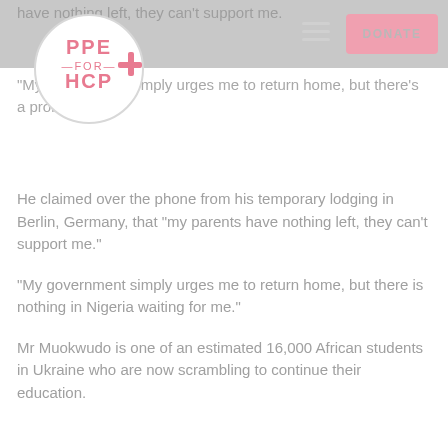PPE FOR HCP — navigation header with logo, hamburger menu, and DONATE button
have nothing left, they can't support me.
"My government simply urges me to return home, but there's a problem."
He claimed over the phone from his temporary lodging in Berlin, Germany, that "my parents have nothing left, they can't support me."
"My government simply urges me to return home, but there is nothing in Nigeria waiting for me."
Mr Muokwudo is one of an estimated 16,000 African students in Ukraine who are now scrambling to continue their education.